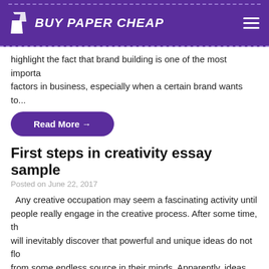BUY PAPER CHEAP
highlight the fact that brand building is one of the most important factors in business, especially when a certain brand wants to...
Read More →
First steps in creativity essay sample
Posted on June 22, 2017
Any creative occupation may seem a fascinating activity until people really engage in the creative process. After some time, they will inevitably discover that powerful and unique ideas do not flow from some endless source in their minds. Apparently, ideas do not emerge on their own; they are stimulated by the cognitive abilities of...
Read More →